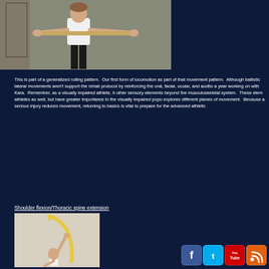[Figure (photo): Woman in white shirt and black pants holding a wooden dowel/stick horizontally at waist level]
This is part of a generalized rolling pattern.  Our first form of locomotion as part of that movement pattern.  Although ballistic lateral movements aren't support the rehab protocol by reinforcing the oral, facial, ocular, and audito a year working on with Kara.  Remember, as a visually impaired athlete, h other sensory elements beyond the musculoskeletal system.  These elem athletes as well, but have greater importance in the visually impaired popu explores different planes of movement.  Because a serious injury reduces movement, returning to basics is vital to prepare for the advanced athletic
Shoulder flexion/Thoracic spine extension
[Figure (photo): Person raising one arm above head with yellow arrow showing arc of movement - shoulder flexion and thoracic spine extension exercise]
[Figure (illustration): Social media icons: Facebook, Twitter, YouTube, RSS feed]